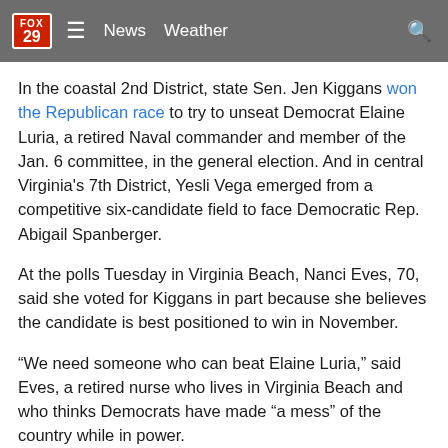FOX 29  ≡  News  Weather  🔍
In the coastal 2nd District, state Sen. Jen Kiggans won the Republican race to try to unseat Democrat Elaine Luria, a retired Naval commander and member of the Jan. 6 committee, in the general election. And in central Virginia's 7th District, Yesli Vega emerged from a competitive six-candidate field to face Democratic Rep. Abigail Spanberger.
At the polls Tuesday in Virginia Beach, Nanci Eves, 70, said she voted for Kiggans in part because she believes the candidate is best positioned to win in November.
“We need someone who can beat Elaine Luria,” said Eves, a retired nurse who lives in Virginia Beach and who thinks Democrats have made “a mess” of the country while in power.